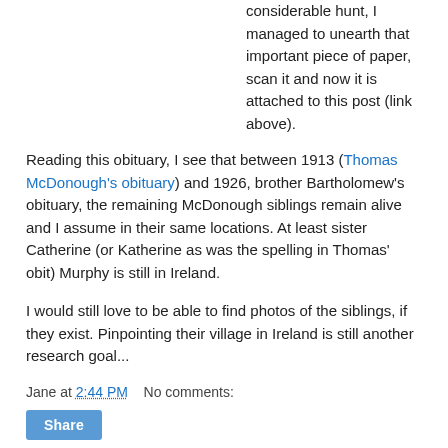considerable hunt, I managed to unearth that important piece of paper, scan it and now it is attached to this post (link above).
Reading this obituary, I see that between 1913 (Thomas McDonough's obituary) and 1926, brother Bartholomew's obituary, the remaining McDonough siblings remain alive and I assume in their same locations. At least sister Catherine (or Katherine as was the spelling in Thomas' obit) Murphy is still in Ireland.
I would still love to be able to find photos of the siblings, if they exist. Pinpointing their village in Ireland is still another research goal...
Jane at 2:44 PM   No comments:
Share
Thursday, March 12, 2009